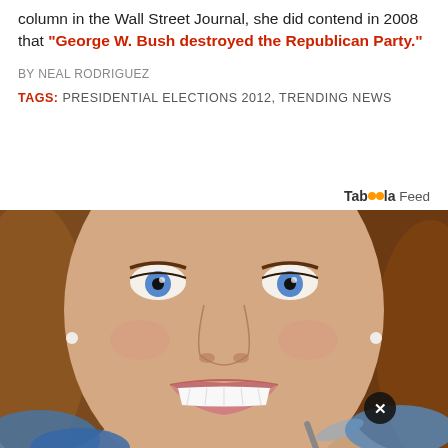column in the Wall Street Journal, she did contend in 2008 that "George W. Bush destroyed the Republican Party."
BY NEAL RODRIGUEZ
TAGS: PRESIDENTIAL ELECTIONS 2012, TRENDING NEWS
Taboola Feed
[Figure (photo): Close-up photo of a smiling woman with blue eyes and auburn hair at a dental examination. She has white teeth and is smiling broadly. Blue-gloved hands and dental tools are visible at the bottom of the frame. A close button (X) is overlaid in the bottom right area.]